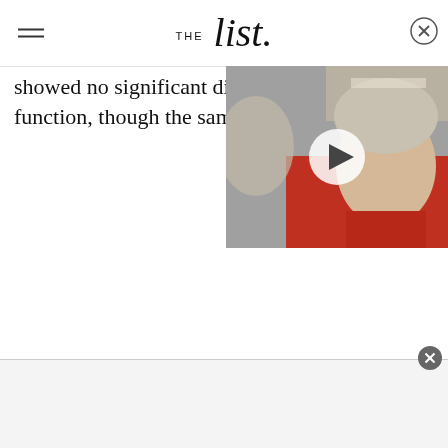THE list
showed no significant differe... function, though the sample
[Figure (photo): Video thumbnail showing Queen Elizabeth II wearing a tiara and red outfit, with a white play button overlay. A partially visible person is in the background on the left.]
[Figure (screenshot): Bottom advertisement area with a close/dismiss button (X circle) in the upper right corner. Light gray background.]